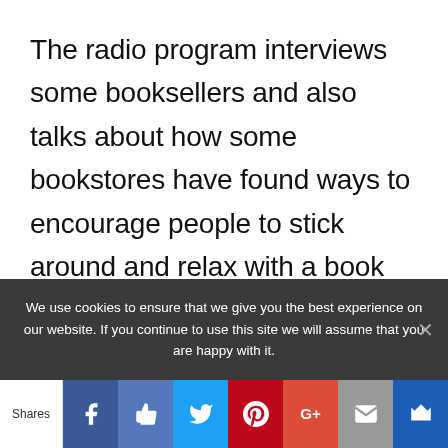The radio program interviews some booksellers and also talks about how some bookstores have found ways to encourage people to stick around and relax with a book before they've bought it, for example, by including a cafe or comfy chairs. Apparently one of the motivations is to get people to stay long enough that they feel guilty about leaving without buying something. I wonder if it's also
We use cookies to ensure that we give you the best experience on our website. If you continue to use this site we will assume that you are happy with it.
Shares [Facebook] [Like] [Twitter] [Pinterest] [Google+] [Mail] [Crown]